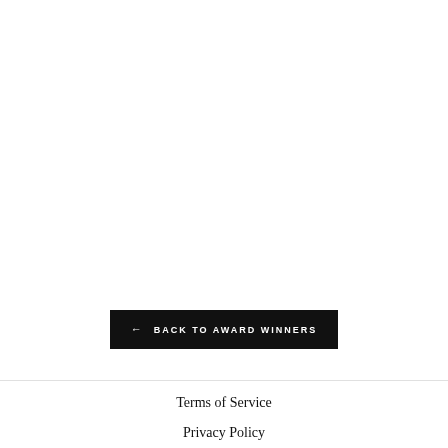← BACK TO AWARD WINNERS
Terms of Service
Privacy Policy